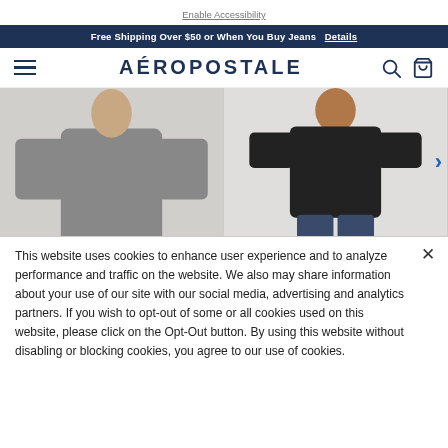Enable Accessibility
Free Shipping Over $50 or When You Buy Jeans  Details
AÉROPOSTALE
[Figure (photo): Two male models wearing Aeropostale clothing — left model in gray long-sleeve top and light ripped jeans, right model in black t-shirt and dark ripped jeans]
This website uses cookies to enhance user experience and to analyze performance and traffic on the website. We also may share information about your use of our site with our social media, advertising and analytics partners. If you wish to opt-out of some or all cookies used on this website, please click on the Opt-Out button. By using this website without disabling or blocking cookies, you agree to our use of cookies.